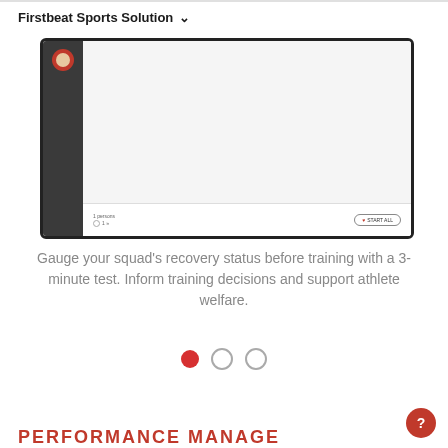Firstbeat Sports Solution ∨
[Figure (screenshot): Screenshot of a sports software interface showing a dark sidebar with an athlete avatar, a gray main content area, and a bottom bar with '1 persons' label, a circle icon, and a 'START ALL' button with a heart icon.]
Gauge your squad's recovery status before training with a 3-minute test. Inform training decisions and support athlete welfare.
[Figure (other): Carousel navigation dots: one filled red circle and two empty circles.]
PERFORMANCE MANAGEMENT